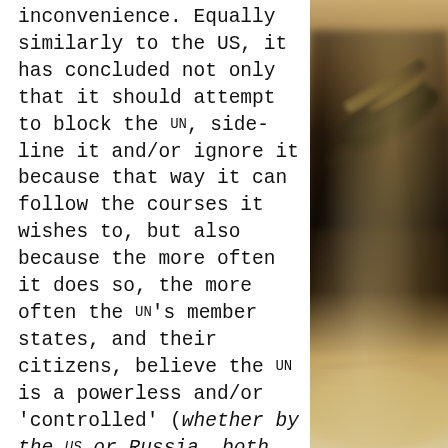inconvenience. Equally similarly to the US, it has concluded not only that it should attempt to block the UN, side-line it and/or ignore it because that way it can follow the courses it wishes to, but also because the more often it does so, the more often the UN's member states, and their citizens, believe the UN is a powerless and/or 'controlled' (whether by the US or Russia, both benefit by the loss of faith in the UN) by its most powerful member states (it is a shame that the UN itself occasionally appears to enable this) and that therefore it is a
[Figure (photo): Dark blurred photo of a pen or fountain pen nib with golden/warm tones and handwritten text visible in the background]